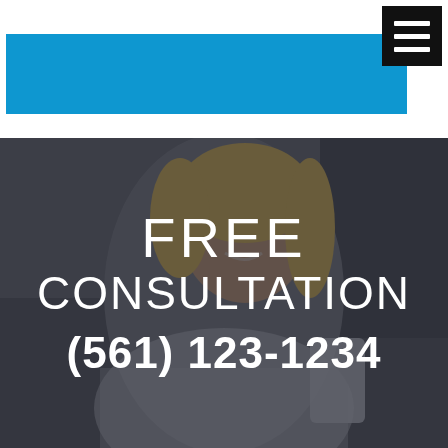[Figure (illustration): Dark background photo of a smiling woman talking on her phone, with dark overlay. Blue bar in the header area. Hamburger menu icon top right.]
FREE CONSULTATION
(561) 123-1234